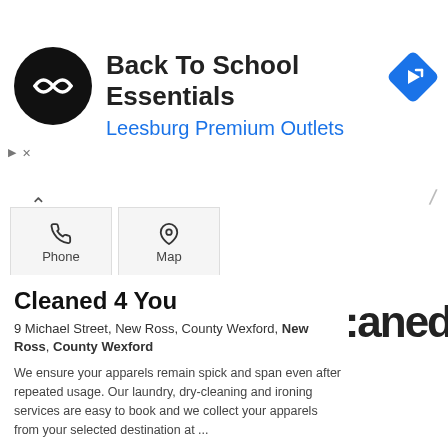[Figure (screenshot): Ad banner: Back To School Essentials at Leesburg Premium Outlets with logo and navigation arrow icon]
[Figure (screenshot): Phone and Map action buttons with chevron up icon]
Cleaned 4 You
9 Michael Street, New Ross, County Wexford, New Ross, County Wexford
We ensure your apparels remain spick and span even after repeated usage. Our laundry, dry-cleaning and ironing services are easy to book and we collect your apparels from your selected destination at ...
[Figure (logo): Partial 'aned' text watermark logo on the right side]
✓ Verified   +3  Years with us
[Figure (screenshot): Phone, Website, and Photos action buttons at bottom]